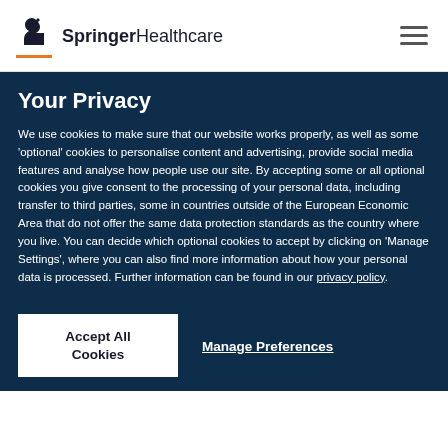Springer Healthcare
Your Privacy
We use cookies to make sure that our website works properly, as well as some 'optional' cookies to personalise content and advertising, provide social media features and analyse how people use our site. By accepting some or all optional cookies you give consent to the processing of your personal data, including transfer to third parties, some in countries outside of the European Economic Area that do not offer the same data protection standards as the country where you live. You can decide which optional cookies to accept by clicking on 'Manage Settings', where you can also find more information about how your personal data is processed. Further information can be found in our privacy policy.
Accept All Cookies
Manage Preferences